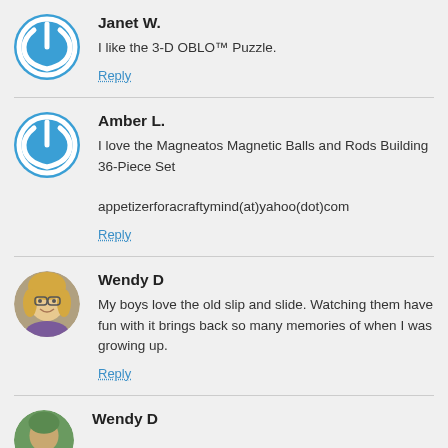Janet W.
I like the 3-D OBLO™ Puzzle.
Reply
Amber L.
I love the Magneatos Magnetic Balls and Rods Building 36-Piece Set
appetizerforacraftymind(at)yahoo(dot)com
Reply
Wendy D
My boys love the old slip and slide. Watching them have fun with it brings back so many memories of when I was growing up.
Reply
Wendy D